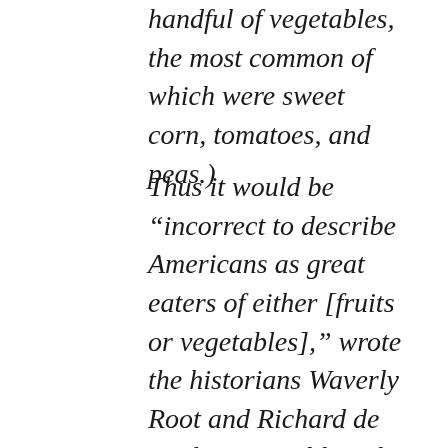handful of vegetables, the most common of which were sweet corn, tomatoes, and peas.)
Thus it would be “incorrect to describe Americans as great eaters of either [fruits or vegetables],” wrote the historians Waverly Root and Richard de Rochemont. Although a vegetarian movement did establish itself in the United States by 1870, the general mistrust of these fresh foods, which spoiled so easily and could carry disease, did not dissipate until after World War I, with the advent of the home refrigerator.